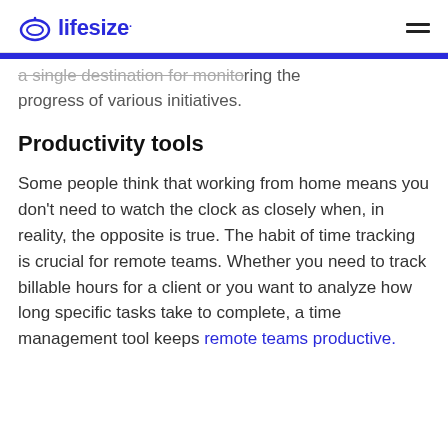lifesize
a single destination for monitoring the progress of various initiatives.
Productivity tools
Some people think that working from home means you don't need to watch the clock as closely when, in reality, the opposite is true. The habit of time tracking is crucial for remote teams. Whether you need to track billable hours for a client or you want to analyze how long specific tasks take to complete, a time management tool keeps remote teams productive.